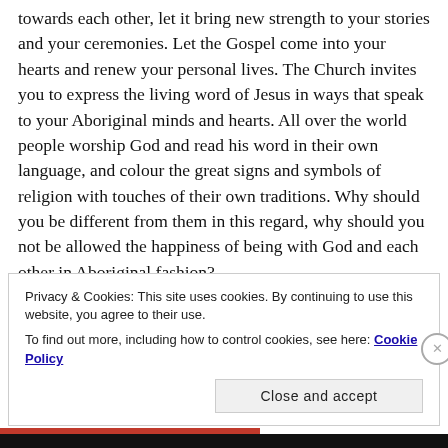towards each other, let it bring new strength to your stories and your ceremonies. Let the Gospel come into your hearts and renew your personal lives. The Church invites you to express the living word of Jesus in ways that speak to your Aboriginal minds and hearts. All over the world people worship God and read his word in their own language, and colour the great signs and symbols of religion with touches of their own traditions. Why should you be different from them in this regard, why should you not be allowed the happiness of being with God and each other in Aboriginal fashion?
Privacy & Cookies: This site uses cookies. By continuing to use this website, you agree to their use. To find out more, including how to control cookies, see here: Cookie Policy